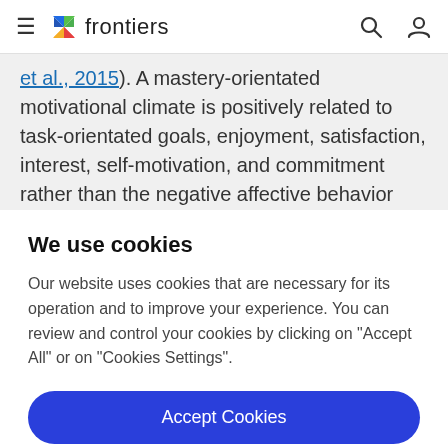frontiers
et al., 2015). A mastery-orientated motivational climate is positively related to task-orientated goals, enjoyment, satisfaction, interest, self-motivation, and commitment rather than the negative affective behavior and feeling of pressure associated with a performance-orientated
We use cookies
Our website uses cookies that are necessary for its operation and to improve your experience. You can review and control your cookies by clicking on "Accept All" or on "Cookies Settings".
Accept Cookies
Cookies Settings